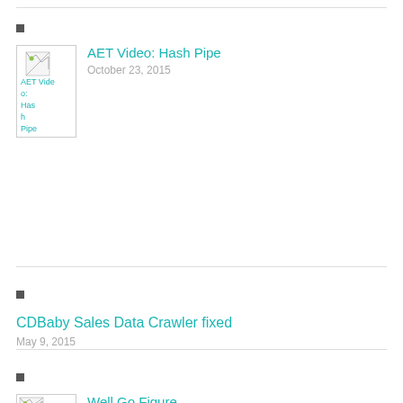AET Video: Hash Pipe
October 23, 2015
CDBaby Sales Data Crawler fixed
May 9, 2015
Well Go Figure ...